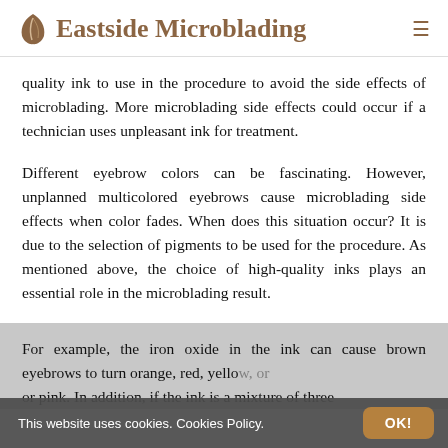Eastside Microblading
quality ink to use in the procedure to avoid the side effects of microblading. More microblading side effects could occur if a technician uses unpleasant ink for treatment.
Different eyebrow colors can be fascinating. However, unplanned multicolored eyebrows cause microblading side effects when color fades. When does this situation occur? It is due to the selection of pigments to be used for the procedure. As mentioned above, the choice of high-quality inks plays an essential role in the microblading result.
For example, the iron oxide in the ink can cause brown eyebrows to turn orange, red, yellow, or pink. In addition, if the ink is a mixture of three
This website uses cookies. Cookies Policy.